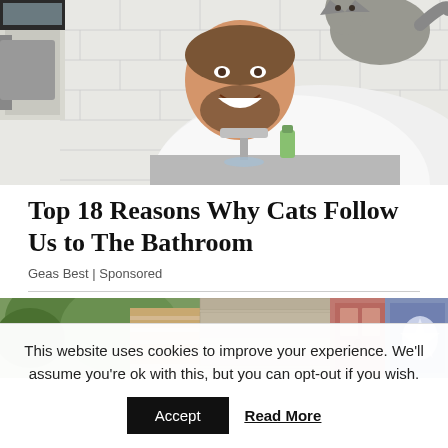[Figure (photo): A man with a beard in a white shirt smiling at the camera while using a bathroom sink. A cat is visible on his back/shoulder. White subway tile wall in the background.]
Top 18 Reasons Why Cats Follow Us to The Bathroom
Geas Best | Sponsored
[Figure (photo): A composite image showing a house exterior with peeling paint/siding, trees, and what appears to be a door and some fabric/flag.]
This website uses cookies to improve your experience. We'll assume you're ok with this, but you can opt-out if you wish.